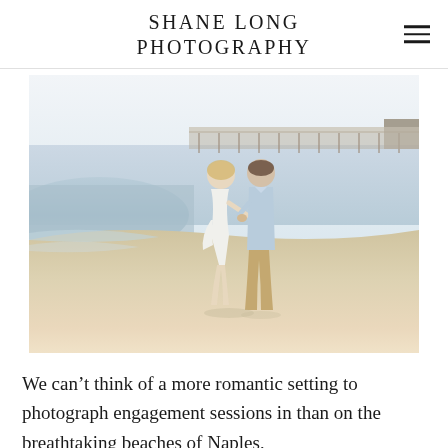SHANE LONG PHOTOGRAPHY
[Figure (photo): A couple holding hands and running along a beach at golden hour. The woman wears a white dress and the man wears a light blue shirt and khaki pants. A pier is visible in the background over calm water.]
We can't think of a more romantic setting to photograph engagement sessions in than on the breathtaking beaches of Naples,